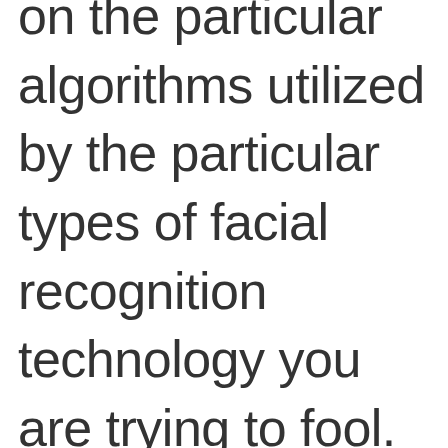on the particular algorithms utilized by the particular types of facial recognition technology you are trying to fool.